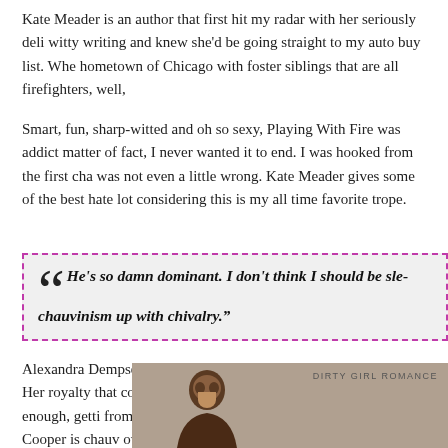Kate Meader is an author that first hit my radar with her seriously deli witty writing and knew she'd be going straight to my auto buy list. Wh hometown of Chicago with foster siblings that are all firefighters, well,
Smart, fun, sharp-witted and oh so sexy, Playing With Fire was addict matter of fact, I never wanted it to end. I was hooked from the first ch was not even a little wrong. Kate Meader gives some of the best hate lot considering this is my all time favorite trope.
“He’s so damn dominant. I don’t think I should be sle chauvinism up with chivalry.”
Alexandra Dempsey is used to always having to prove her worth. Her royalty that constantly try to shelter her, and if that's not enough, getti from the mayor of Chicago certainly doesn't help. Eli Cooper is chauv own good. So what if one look from him makes her nether regions pu
[Figure (photo): Photo of a dark-haired man with text overlay reading DIRTY GIRL ROMANCE]